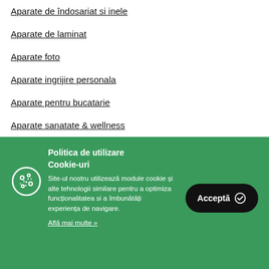Aparate de îndosariat si inele
Aparate de laminat
Aparate foto
Aparate ingrijire personala
Aparate pentru bucatarie
Aparate sanatate & wellness
Aparate si accesorii finisare documente
Politica de utilizare Cookie-uri
Site-ul nostru utilizează module cookie și alte tehnologii similare pentru a optimiza funcționalitatea si a îmbunătăți experiența de navigare.
Află mai multe »